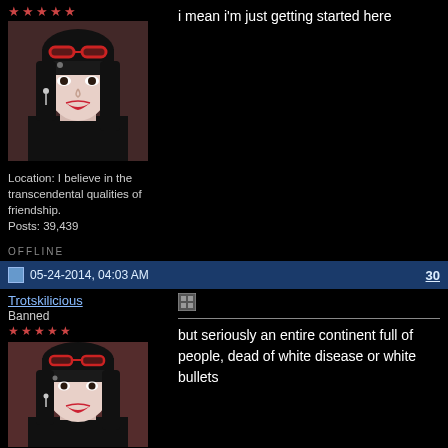[Figure (photo): Avatar photo of a woman with black hair, red sunglasses on head, pale skin, red lips]
Location: I believe in the transcendental qualities of friendship.
Posts: 39,439
OFFLINE
i mean i'm just getting started here
05-24-2014, 04:03 AM   30
Trotskilicious
Banned
[Figure (photo): Second avatar photo of same woman with black hair and red sunglasses]
but seriously an entire continent full of people, dead of white disease or white bullets